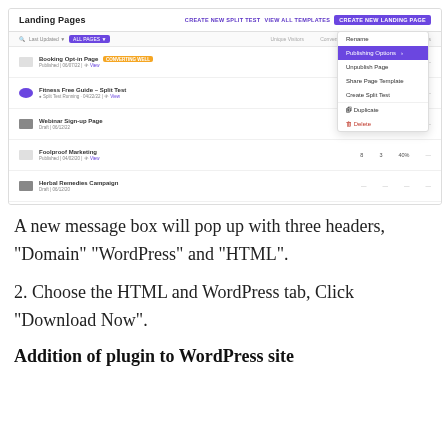[Figure (screenshot): Screenshot of a Landing Pages dashboard interface showing a list of landing pages with columns for Unique Visitors, Conversions, Conversion Rate, and Earnings. A dropdown context menu is open showing options: Rename, Publishing Options (highlighted in purple), Unpublish Page, Share Page Template, Create Split Test, Duplicate, Delete.]
A new message box will pop up with three headers, “Domain” “WordPress” and “HTML”.
2. Choose the HTML and WordPress tab, Click “Download Now”.
Addition of plugin to WordPress site